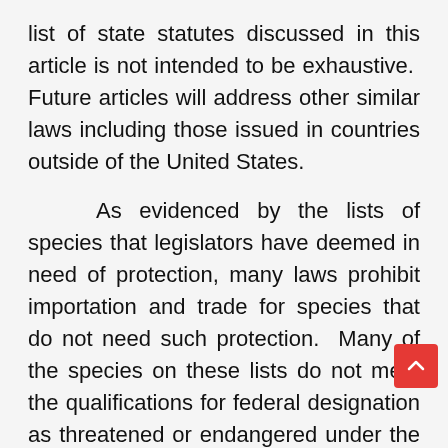list of state statutes discussed in this article is not intended to be exhaustive.  Future articles will address other similar laws including those issued in countries outside of the United States.
As evidenced by the lists of species that legislators have deemed in need of protection, many laws prohibit importation and trade for species that do not need such protection.  Many of the species on these lists do not meet the qualifications for federal designation as threatened or endangered under the Endangered Species Act.
Laws that prohibit the importation and/or sale of species that even the U.S. Fish and Wildlife Service has not deemed necessary to protect are often the handiwork of lawmakers who lack an understanding of how conservation works and are following misguided motives intended to appease